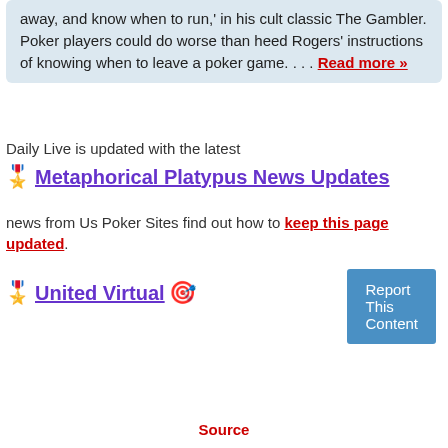away, and know when to run,' in his cult classic The Gambler. Poker players could do worse than heed Rogers' instructions of knowing when to leave a poker game.... Read more »
Daily Live is updated with the latest
Metaphorical Platypus News Updates
news from Us Poker Sites find out how to keep this page updated.
United Virtual
Report This Content
Source